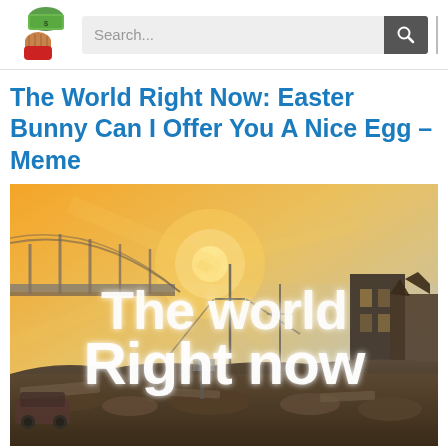[Figure (screenshot): Website header with a cartoon logo of a hand holding money, a search bar with 'Search...' placeholder, a dark search button with magnifying glass icon, and a vertical divider line.]
The World Right Now: Easter Bunny Can I Offer You A Nice Egg – Meme
[Figure (photo): A post-apocalyptic scene meme image showing a devastated cityscape with rubble, destroyed vehicles, power lines, a bridge, and orange glowing sky. White bold text overlaid reads 'The world Right now'.]